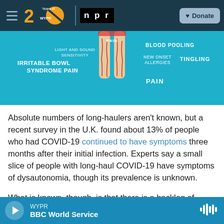WYPR 20 Years of WYPR | NPR | Donate
[Figure (infographic): Medical infographic on turquoise/teal background showing human legs with symptoms of dysautonomia/long COVID labeled: IRRITABLE BOWL SYNDROME PAIN, LIGHT AND SOUND SENSITIVITY, BLOOD POOLING, NEW ONSET ALLERGIES, TINGLING, PAIN]
Absolute numbers of long-haulers aren't known, but a recent survey in the U.K. found about 13% of people who had COVID-19 continued to have symptoms three months after their initial infection. Experts say a small slice of people with long-haul COVID-19 have symptoms of dysautonomia, though its prevalence is unknown.
What is known, though, is that there is a backlog of
WYPR | BBC World Service